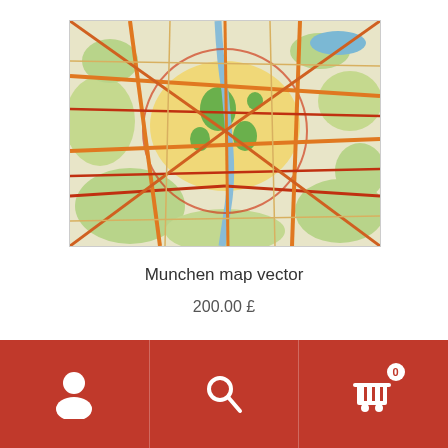[Figure (map): Detailed street and road map of Munich (Munchen), Germany, showing city center, suburbs, major roads, highways, green areas, and a river running through the city. Roads shown in orange/yellow/red, green areas for parks and suburbs, blue for water.]
Munchen map vector
200.00 £
Navigation bar with person/account icon, search icon, and shopping cart icon with badge showing 0